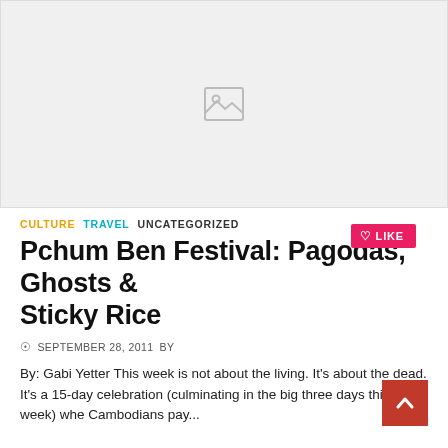[Figure (photo): Placeholder image with a broken image icon on a light grey background]
CULTURE  TRAVEL  UNCATEGORIZED
Pchum Ben Festival: Pagodas, Ghosts & Sticky Rice
SEPTEMBER 28, 2011  BY
By: Gabi Yetter This week is not about the living. It's about the dead. It's a 15-day celebration (culminating in the big three days this week) whe Cambodians pay...